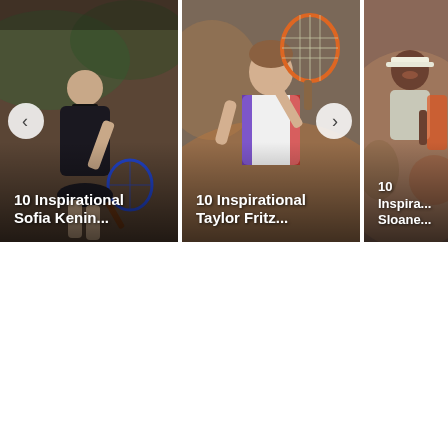[Figure (screenshot): A horizontal carousel of tennis player article cards. Card 1 (left): Sofia Kenin on a clay court in a patterned top holding a racket, with text '10 Inspirational Sofia Kenin...' overlaid at bottom. Card 2 (center): Taylor Fritz smiling and holding a tennis racket up, with text '10 Inspirational Taylor Fritz...' overlaid. Card 3 (right, partially cropped): Sloane Stephens smiling with crowd background, text '10 Inspira... Sloane...' partially visible. Navigation arrows are visible on left and right sides of the carousel.]